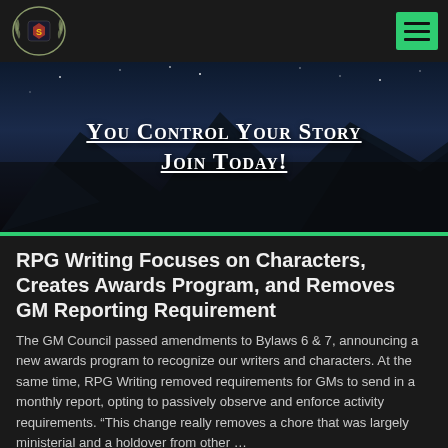RPG Writing site header with logo and navigation menu
[Figure (illustration): Night sky mountain landscape banner with text 'You Control Your Story Join Today!']
RPG Writing Focuses on Characters, Creates Awards Program, and Removes GM Reporting Requirement
The GM Council passed amendments to Bylaws 6 & 7, announcing a new awards program to recognize our writers and characters. At the same time, RPG Writing removed requirements for GMs to send in a monthly report, opting to passively observe and enforce activity requirements. "This change really removes a chore that was largely ministerial and a holdover from other ...